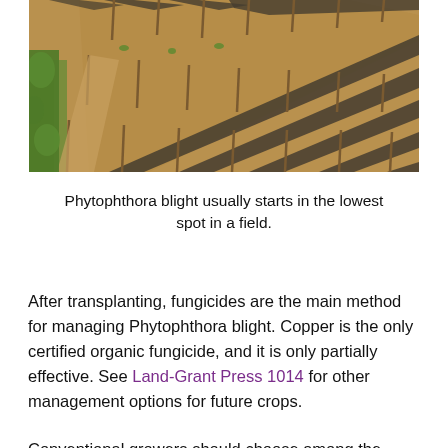[Figure (photo): Aerial/ground-level view of an agricultural field with rows of plants covered by black plastic mulch, with wooden stakes, on dry/yellow-brown soil. Green plants visible along one edge.]
Phytophthora blight usually starts in the lowest spot in a field.
After transplanting, fungicides are the main method for managing Phytophthora blight. Copper is the only certified organic fungicide, and it is only partially effective. See Land-Grant Press 1014 for other management options for future crops.
Conventional growers should choose among the